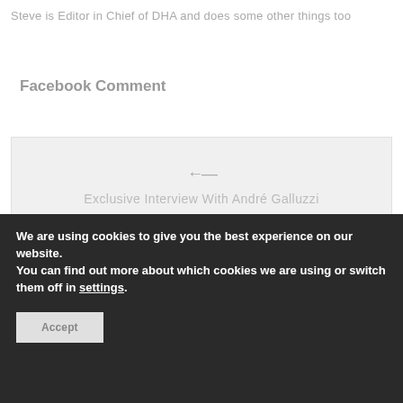Steve is Editor in Chief of DHA and does some other things too
Facebook Comment
[Figure (screenshot): Navigation box with light gray background showing a left arrow, the title 'Exclusive Interview With André Galluzzi', a right arrow, and partially visible navigation links at the bottom.]
We are using cookies to give you the best experience on our website.
You can find out more about which cookies we are using or switch them off in settings.
Accept